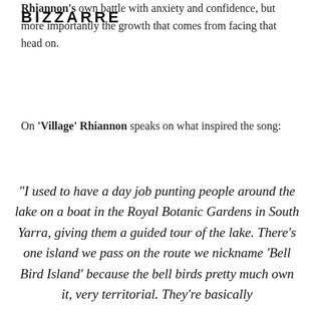Rhiannon's own battle with anxiety and confidence, but more importantly the growth that comes from facing that head on.
On 'Village' Rhiannon speaks on what inspired the song:
“I used to have a day job punting people around the lake on a boat in the Royal Botanic Gardens in South Yarra, giving them a guided tour of the lake. There’s one island we pass on the route we nickname ‘Bell Bird Island’ because the bell birds pretty much own it, very territorial. They’re basically